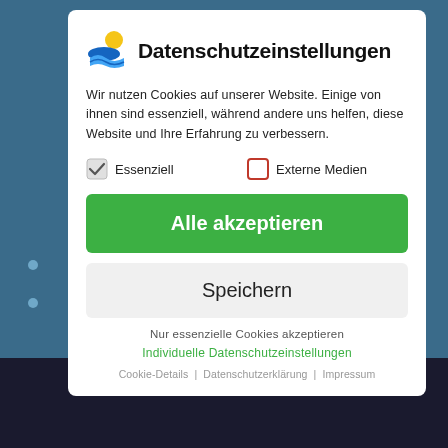[Figure (screenshot): Cookie consent modal dialog over a blurred website background. Contains logo, title 'Datenschutzeinstellungen', descriptive text, checkboxes for Essenziell and Externe Medien, buttons 'Alle akzeptieren' and 'Speichern', and footer links.]
Datenschutzeinstellungen
Wir nutzen Cookies auf unserer Website. Einige von ihnen sind essenziell, während andere uns helfen, diese Website und Ihre Erfahrung zu verbessern.
Essenziell
Externe Medien
Alle akzeptieren
Speichern
Nur essenzielle Cookies akzeptieren
Individuelle Datenschutzeinstellungen
Cookie-Details | Datenschutzerklärung | Impressum